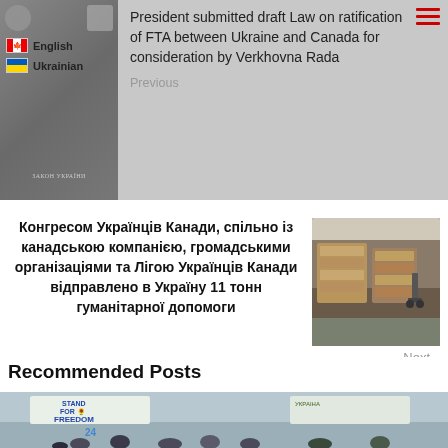[Figure (screenshot): Navigation area showing a document image on the left with Canadian and Ukrainian flag language buttons (English, Ukrainian), and article title text on the right with a hamburger menu icon]
President submitted draft Law on ratification of FTA between Ukraine and Canada for consideration by Verkhovna Rada
Previous
Конгресом Українців Канади, спільно із канадською компанією, громадськими організаціями та Лігою Українців Канади відправлено в Україну 11 тонн гуманітарної допомоги
[Figure (photo): Photo of humanitarian aid packages/pallets in a warehouse]
Next
Recommended Posts
[Figure (photo): Photo of people standing in front of a 'Stand for Freedom' banner]